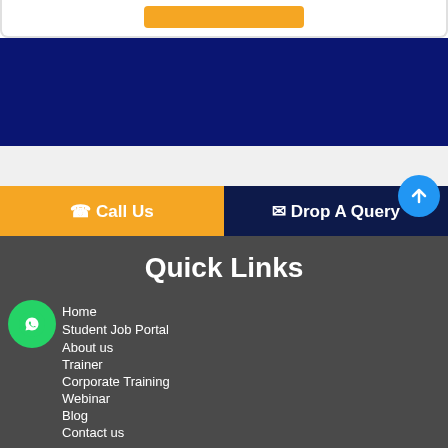[Figure (screenshot): Top white card section with orange button partially visible]
[Figure (screenshot): Dark navy blue background section]
[Figure (screenshot): Light gray spacer section]
Call Us
Drop A Query
Quick Links
Home
Student Job Portal
About us
Trainer
Corporate Training
Webinar
Blog
Contact us